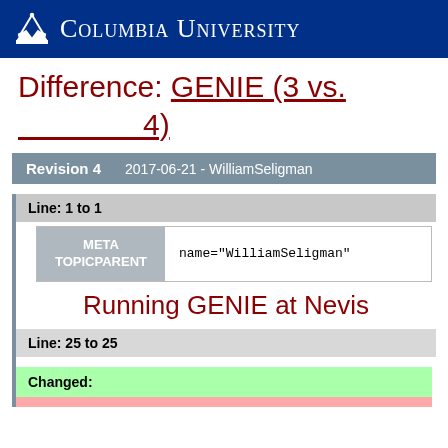Columbia University
Difference: GENIE (3 vs. 4)
| Revision 4 | 2017-06-21 - WilliamSeligman |
| --- | --- |
Line: 1 to 1
| META TOPICPARENT | name="WilliamSeligman" |
| --- | --- |
Running GENIE at Nevis
Line: 25 to 25
Changed: